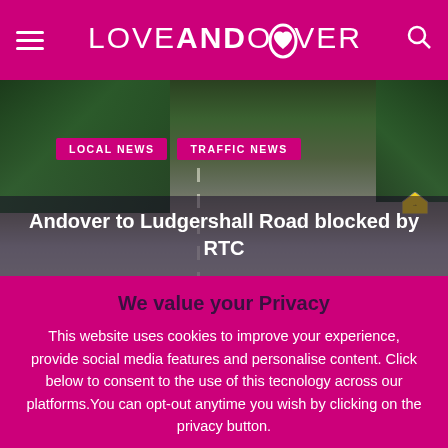LOVEANDOVER
[Figure (photo): Road scene showing a rural road with trees on either side, heading towards Ludgershall. Road sign visible on the right.]
Andover to Ludgershall Road blocked by RTC
We value your Privacy
This website uses cookies to improve your experience, provide social media features and personalise content. Click below to consent to the use of this tecnology across our platforms.You can opt-out anytime you wish by clicking on the privacy button.
Accept | Reject | Read More